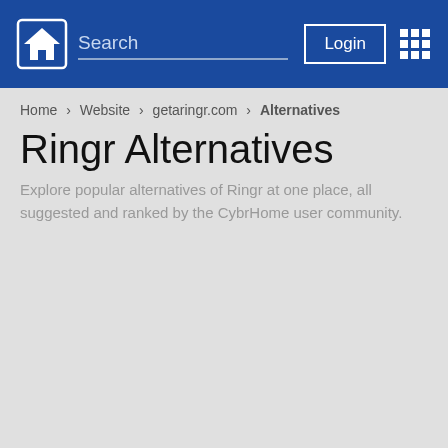Search | Login
Home > Website > getaringr.com > Alternatives
Ringr Alternatives
Explore popular alternatives of Ringr at one place, all suggested and ranked by the CybrHome user community.